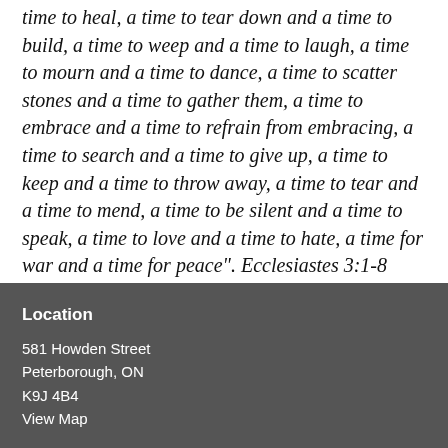time to heal, a time to tear down and a time to build, a time to weep and a time to laugh, a time to mourn and a time to dance, a time to scatter stones and a time to gather them, a time to embrace and a time to refrain from embracing, a time to search and a time to give up, a time to keep and a time to throw away, a time to tear and a time to mend, a time to be silent and a time to speak, a time to love and a time to hate, a time for war and a time for peace".  Ecclesiastes 3:1-8
Location
581 Howden Street
Peterborough, ON
K9J 4B4
View Map